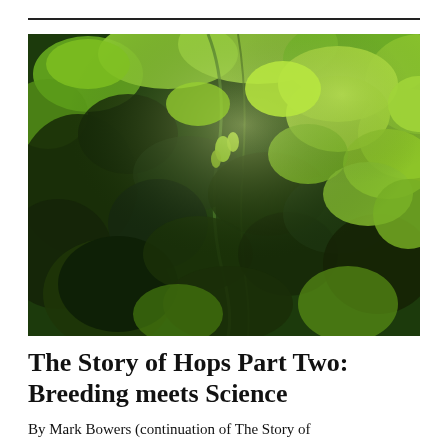[Figure (photo): Close-up photograph of a hop plant with bright green leaves and hop cones, sunlight filtering through the foliage creating a dappled light effect with areas of deep shadow and vivid green.]
The Story of Hops Part Two: Breeding meets Science
By Mark Bowers (continuation of The Story of